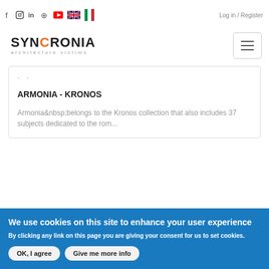f  instagram  linkedin  pinterest  youtube  [UK flag] [IT flag]  Log in / Register
[Figure (logo): SYNCRONIA architecture victims logo with hamburger menu icon]
· ·
ARMONIA - KRONOS
Armonia belongs to the Kronos collection that also includes 37 subjects dedicated to the rom...
We use cookies on this site to enhance your user experience
By clicking any link on this page you are giving your consent for us to set cookies.
OK, I agree    Give me more info